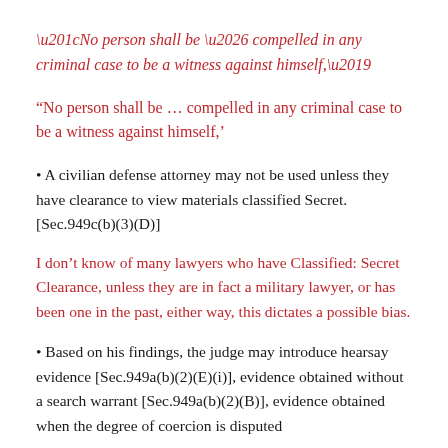“No person shall be … compelled in any criminal case to be a witness against himself,’
A civilian defense attorney may not be used unless they have clearance to view materials classified Secret. [Sec.949c(b)(3)(D)]
I don’t know of many lawyers who have Classified: Secret Clearance, unless they are in fact a military lawyer, or has been one in the past, either way, this dictates a possible bias.
Based on his findings, the judge may introduce hearsay evidence [Sec.949a(b)(2)(E)(i)], evidence obtained without a search warrant [Sec.949a(b)(2)(B)], evidence obtained when the degree of coercion is disputed